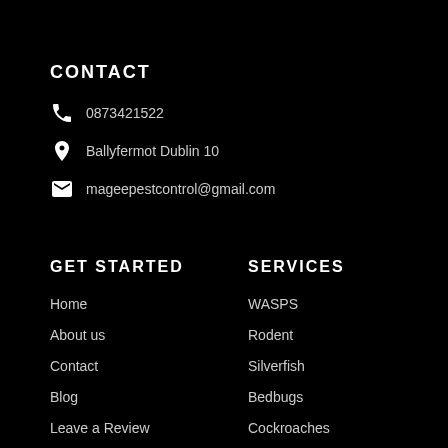CONTACT
0873421522
Ballyfermot Dublin 10
mageepestcontrol@gmail.com
GET STARTED
SERVICES
Home
About us
Contact
Blog
Leave a Review
WASPS
Rodent
Silverfish
Bedbugs
Cockroaches
Woodworm